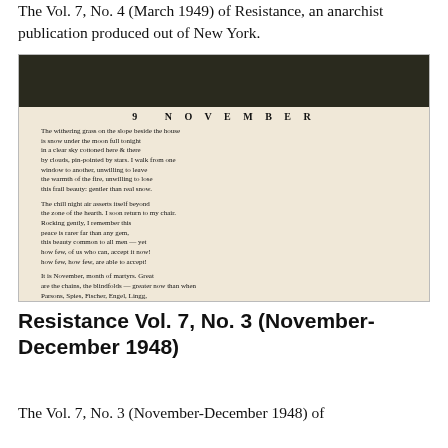The Vol. 7, No. 4 (March 1949) of Resistance, an anarchist publication produced out of New York.
[Figure (photo): Scanned image of a page from the anarchist publication Resistance, showing a poem titled '9 NOVEMBER' on a cream/beige background with a dark photographic header at the top.]
Resistance Vol. 7, No. 3 (November-December 1948)
The Vol. 7, No. 3 (November-December 1948) of